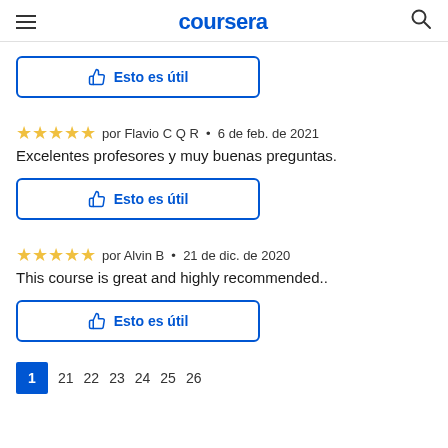coursera
[Figure (other): Thumbs up button labeled 'Esto es útil' (partial, top of page)]
★★★★★  por Flavio C Q R  •  6 de feb. de 2021
Excelentes profesores y muy buenas preguntas.
[Figure (other): Thumbs up button labeled 'Esto es útil']
★★★★★  por Alvin B  •  21 de dic. de 2020
This course is great and highly recommended..
[Figure (other): Thumbs up button labeled 'Esto es útil']
1  21  22  23  24  25  26